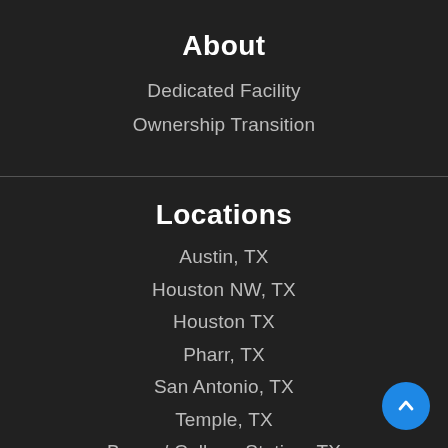About
Dedicated Facility
Ownership Transition
Locations
Austin, TX
Houston NW, TX
Houston TX
Pharr, TX
San Antonio, TX
Temple, TX
Bryan / College Station, TX